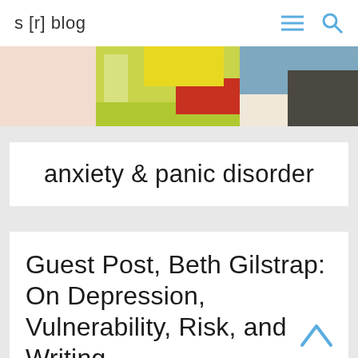s [r] blog
[Figure (photo): Colorful abstract painting used as hero/banner image with yellow, red, blue and white colors]
anxiety & panic disorder
Guest Post, Beth Gilstrap: On Depression, Vulnerability, Risk, and Writing